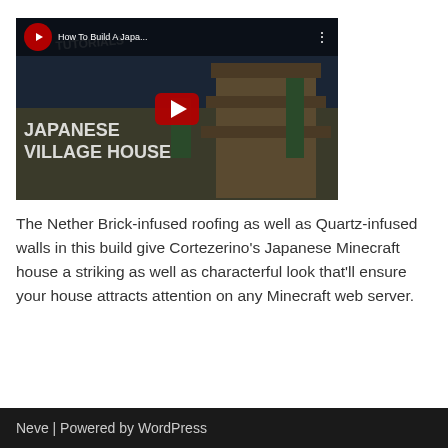[Figure (screenshot): YouTube video thumbnail/embed showing 'How To Build A Japa...' with a Minecraft Japanese Village House scene, red play button in center, channel avatar in top left]
The Nether Brick-infused roofing as well as Quartz-infused walls in this build give Cortezerino's Japanese Minecraft house a striking as well as characterful look that'll ensure your house attracts attention on any Minecraft web server.
Neve | Powered by WordPress